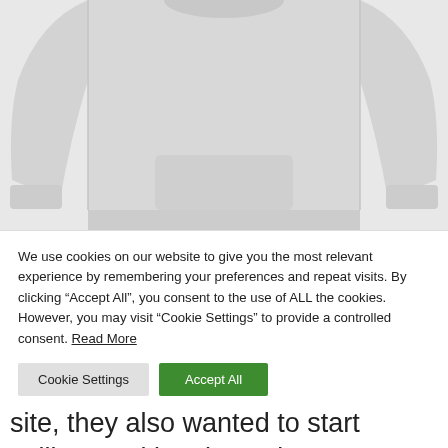[Figure (photo): A light grey sweatshirt/hoodie product photo showing the torso and arms against a white background]
We use cookies on our website to give you the most relevant experience by remembering your preferences and repeat visits. By clicking “Accept All”, you consent to the use of ALL the cookies. However, you may visit “Cookie Settings” to provide a controlled consent. Read More
main award wining Gym, Trojan were lacking progression with their site, they also wanted to start selling nutritional supplement products online which the